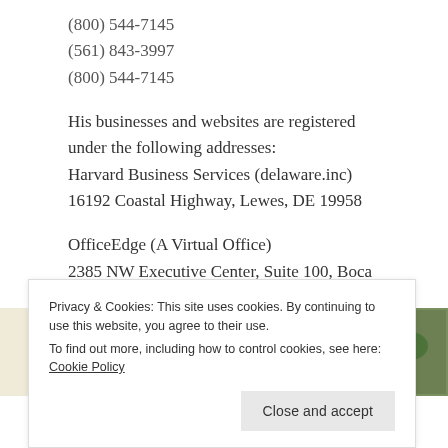(800) 544-7145
(561) 843-3997
(800) 544-7145
His businesses and websites are registered under the following addresses:
Harvard Business Services (delaware.inc)
16192 Coastal Highway, Lewes, DE 19958
OfficeEdge (A Virtual Office)
2385 NW Executive Center, Suite 100, Boca Raton, FL 33431
[Figure (photo): Partial image strip showing food photos and a circular logo on a cream background]
Privacy & Cookies: This site uses cookies. By continuing to use this website, you agree to their use.
To find out more, including how to control cookies, see here: Cookie Policy